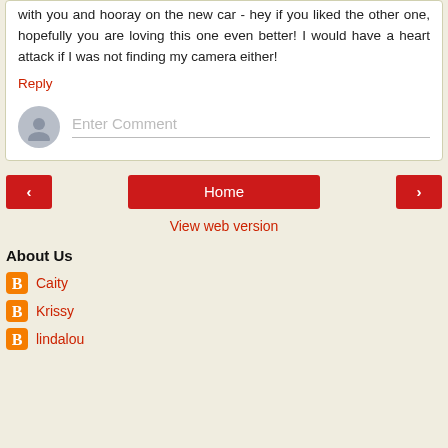with you and hooray on the new car - hey if you liked the other one, hopefully you are loving this one even better! I would have a heart attack if I was not finding my camera either!
Reply
[Figure (other): Comment input field with avatar placeholder and 'Enter Comment' prompt]
< (previous) | Home | > (next)
View web version
About Us
Caity
Krissy
lindalou